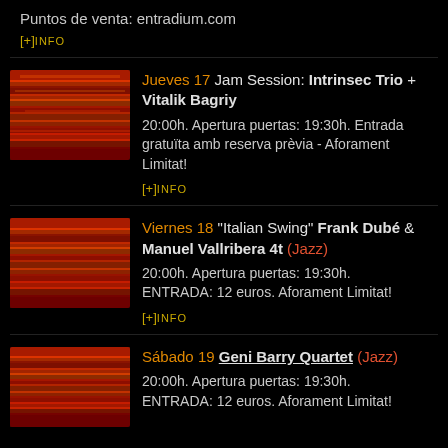Puntos de venta: entradium.com
[+]INFO
Jueves 17 Jam Session: Intrinsec Trio + Vitalik Bagriy
20:00h. Apertura puertas: 19:30h. Entrada gratuïta amb reserva prèvia - Aforament Limitat!
[+]INFO
Viernes 18 "Italian Swing" Frank Dubé & Manuel Vallribera 4t (Jazz)
20:00h. Apertura puertas: 19:30h. ENTRADA: 12 euros. Aforament Limitat!
[+]INFO
Sábado 19 Geni Barry Quartet (Jazz)
20:00h. Apertura puertas: 19:30h. ENTRADA: 12 euros. Aforament Limitat!